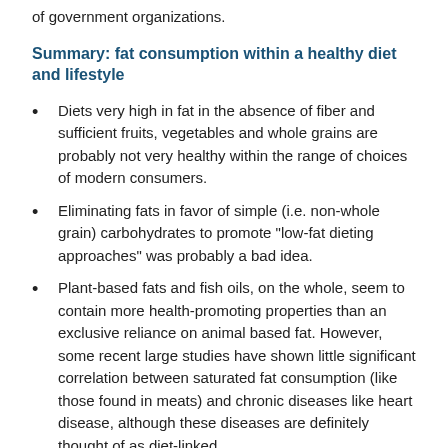of government organizations.
Summary: fat consumption within a healthy diet and lifestyle
Diets very high in fat in the absence of fiber and sufficient fruits, vegetables and whole grains are probably not very healthy within the range of choices of modern consumers.
Eliminating fats in favor of simple (i.e. non-whole grain) carbohydrates to promote "low-fat dieting approaches" was probably a bad idea.
Plant-based fats and fish oils, on the whole, seem to contain more health-promoting properties than an exclusive reliance on animal based fat. However, some recent large studies have shown little significant correlation between saturated fat consumption (like those found in meats) and chronic diseases like heart disease, although these diseases are definitely thought of as diet-linked.